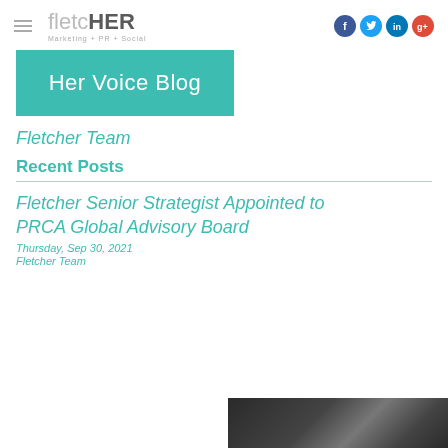fletcher Marketing + PR + Social
Her Voice Blog
Fletcher Team
Recent Posts
Fletcher Senior Strategist Appointed to PRCA Global Advisory Board
Thursday, Sep 30, 2021
Fletcher Team
[Figure (photo): Partial image visible at bottom right of page, dark background]